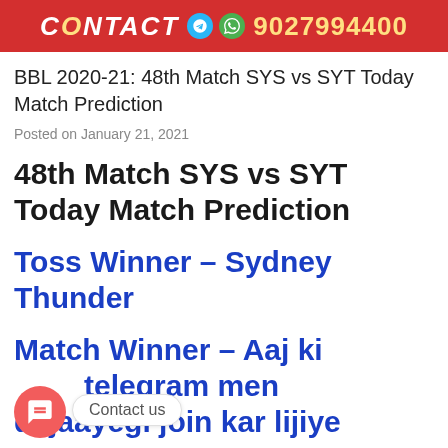CONTACT 9027994400
BBL 2020-21: 48th Match SYS vs SYT Today Match Prediction
Posted on January 21, 2021
48th Match SYS vs SYT Today Match Prediction
Toss Winner – Sydney Thunder
Match Winner – Aaj ki ... telegram men di jaayegi join kar lijiye